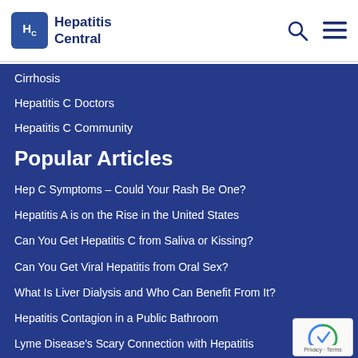Hepatitis Central
Cirrhosis
Hepatitis C Doctors
Hepatitis C Community
Popular Articles
Hep C Symptoms – Could Your Rash Be One?
Hepatitis A is on the Rise in the United States
Can You Get Hepatitis C from Saliva or Kissing?
Can You Get Viral Hepatitis from Oral Sex?
What Is Liver Dialysis and Who Can Benefit From It?
Hepatitis Contagion in a Public Bathroom
Lyme Disease's Scary Connection with Hepatitis
What Impact Does Hepatitis C Have on Your Weight?